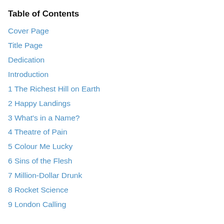Table of Contents
Cover Page
Title Page
Dedication
Introduction
1 The Richest Hill on Earth
2 Happy Landings
3 What's in a Name?
4 Theatre of Pain
5 Colour Me Lucky
6 Sins of the Flesh
7 Million-Dollar Drunk
8 Rocket Science
9 London Calling